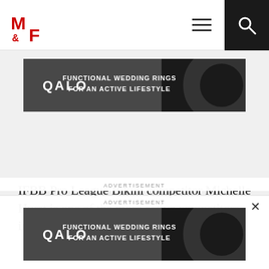M&F (Muscle & Fitness) navigation bar with logo, hamburger menu, and search button
[Figure (screenshot): QALO advertisement banner: dark gray background with QALO logo and text FUNCTIONAL WEDDING RINGS FOR AN ACTIVE LIFESTYLE]
IFBB Pro League Bikini competitor Michelle Hurst is one of the more active competitors in
ADVERTISEMENT
[Figure (screenshot): QALO advertisement banner (bottom overlay): dark gray background with QALO logo and text FUNCTIONAL WEDDING RINGS FOR AN ACTIVE LIFESTYLE]